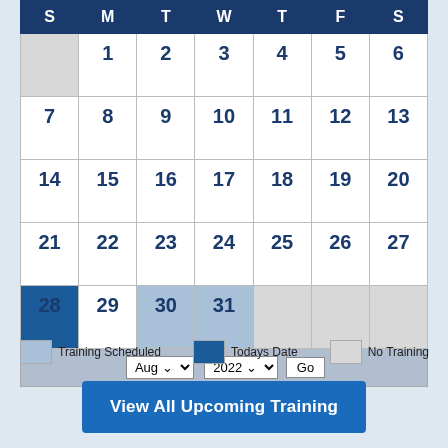[Figure (other): Monthly calendar for August 2022 showing days 1-31. Day 28 is highlighted as today's date (dark blue). Days 30-31 are highlighted as training scheduled (light blue). The calendar has a header row with S M T W T F S, a footer with month/year dropdowns and Go button, and a legend for Training Scheduled, Todays Date, and No Training.]
Training Scheduled   Todays Date   No Training
View All Upcoming Training